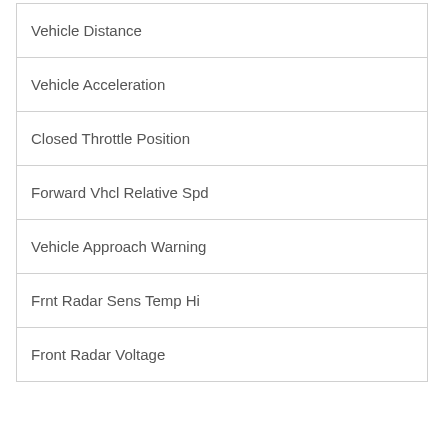| Vehicle Distance |
| Vehicle Acceleration |
| Closed Throttle Position |
| Forward Vhcl Relative Spd |
| Vehicle Approach Warning |
| Frnt Radar Sens Temp Hi |
| Front Radar Voltage |